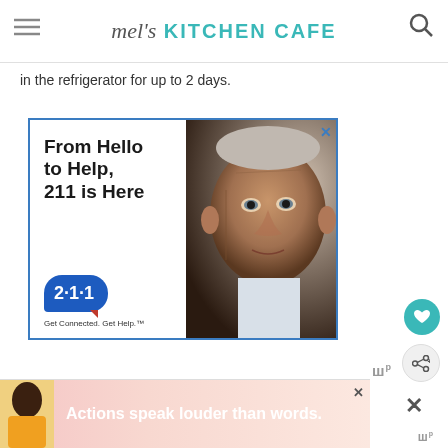mel's KITCHEN CAFE
in the refrigerator for up to 2 days.
[Figure (other): Advertisement: From Hello to Help, 211 is Here. Get Connected. Get Help. Shows elderly man's face and 211 logo.]
[Figure (other): Advertisement banner: Actions speak louder than words. Shows person in yellow jacket.]